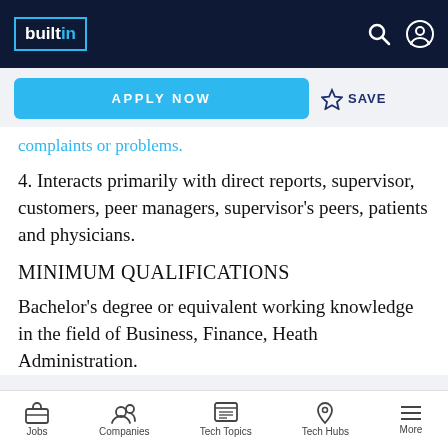builtin
complaints or problems.
4. Interacts primarily with direct reports, supervisor, customers, peer managers, supervisor's peers, patients and physicians.
MINIMUM QUALIFICATIONS
Bachelor's degree or equivalent working knowledge in the field of Business, Finance, Heath Administration.
Jobs  Companies  Tech Topics  Tech Hubs  More